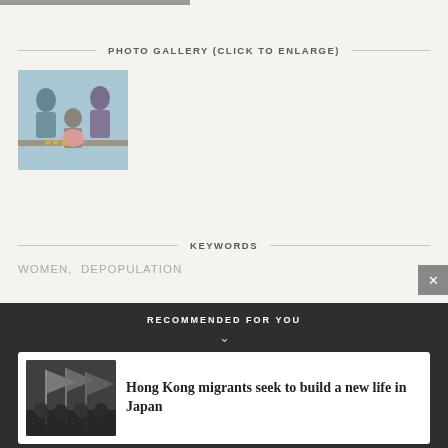[Figure (photo): Partial top edge of a photo (cropped at top of page)]
PHOTO GALLERY (CLICK TO ENLARGE)
[Figure (photo): Family with parents and young child putting coins in a piggy bank]
KEYWORDS
WOMEN,  DEPOPULATION
RECOMMENDED FOR YOU
[Figure (photo): Hong Kong protesters carrying flags]
Hong Kong migrants seek to build a new life in Japan